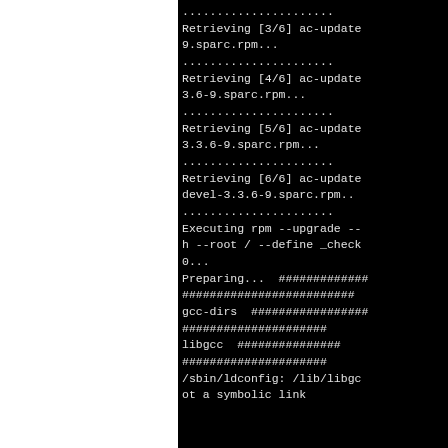[Figure (screenshot): Terminal/console output showing RPM package retrieval and installation progress on a black background. Shows retrieving packages 3/6 through 6/6 (ac-update sparc.rpm files), then executing rpm --upgrade, preparing with progress hashes, and installing gcc-dirs, libgcc packages, followed by /sbin/ldconfig output.]